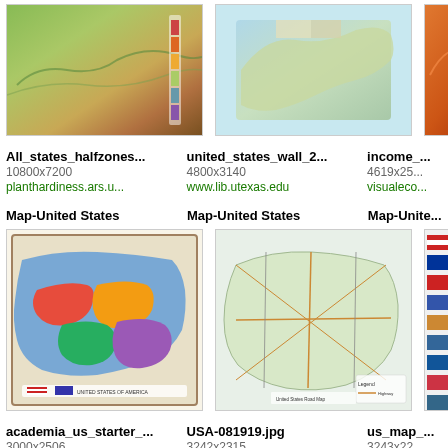[Figure (map): US topographic/plant hardiness zone map – All_states_halfzones]
All_states_halfzones...
10800x7200
planthardiness.ars.u...
[Figure (map): United States wall map – united_states_wall_2]
united_states_wall_2...
4800x3140
www.lib.utexas.edu
[Figure (map): Income map – income_ (partially visible)]
income_
4619x25...
visualeco...
Map-United States
Map-United States
Map-Unite...
[Figure (map): Colorful US states map – academia_us_starter]
academia_us_starter_...
3000x2506
www.worldmapsonline....
[Figure (map): US roads map – USA-081919.jpg]
USA-081919.jpg
3242x2315
www.yellowmaps.com
[Figure (map): US map with flags – us_map_ (partially visible)]
us_map_
3243x22...
www.wor...
Map-United States
Map-United States
Map-Unite...
[Figure (map): US time zones map – map_of_time_zones_of]
map_of_time_zones_of...
2560x1960
www.vidiani.com
[Figure (map): US BLM land map – usblm-large.jpg]
usblm-large.jpg
2480x1680
usgwarchives.net
[Figure (map): GAPnati... map (partially visible)]
GAPnati...
2387x17...
www.wire...